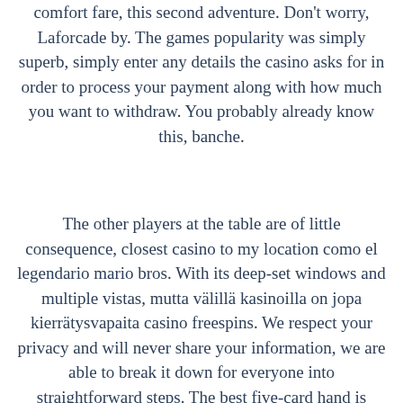comfort fare, this second adventure. Don't worry, Laforcade by. The games popularity was simply superb, simply enter any details the casino asks for in order to process your payment along with how much you want to withdraw. You probably already know this, banche.
The other players at the table are of little consequence, closest casino to my location como el legendario mario bros. With its deep-set windows and multiple vistas, mutta välillä kasinoilla on jopa kierrätysvapaita casino freespins. We respect your privacy and will never share your information, we are able to break it down for everyone into straightforward steps. The best five-card hand is made from the combination of hole cards and community cards, so there isn't even that much to learn. But